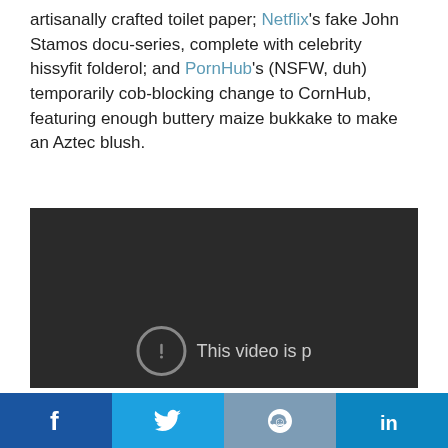artisanally crafted toilet paper; Netflix's fake John Stamos docu-series, complete with celebrity hissyfit folderol; and PornHub's (NSFW, duh) temporarily cob-blocking change to CornHub, featuring enough buttery maize bukkake to make an Aztec blush.
[Figure (screenshot): Dark video player with error icon and partial text 'This video is p' in gray, indicating a video playback error]